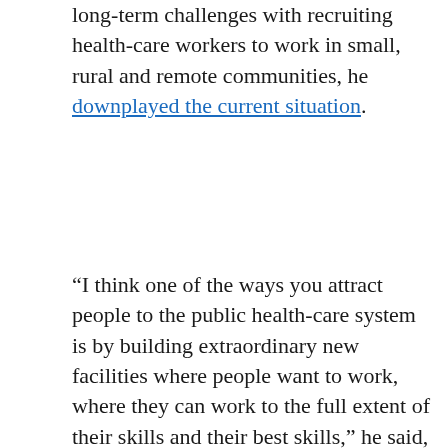long-term challenges with recruiting health-care workers to work in small, rural and remote communities, he downplayed the current situation.
“I think one of the ways you attract people to the public health-care system is by building extraordinary new facilities where people want to work, where they can work to the full extent of their skills and their best skills,” he said, touting the construction of new hospitals in several communities and upgrades in others.
In an email, a Ministry of Health spokesperson reiterated Dix’s position that an audit would take too long and that they’d already acted by dedicating more than $6 million toward hiring